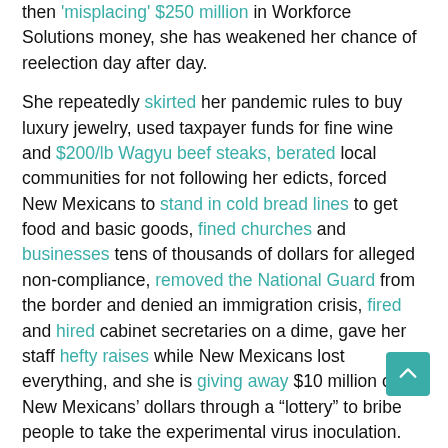then 'misplacing' $250 million in Workforce Solutions money, she has weakened her chance of reelection day after day.
She repeatedly skirted her pandemic rules to buy luxury jewelry, used taxpayer funds for fine wine and $200/lb Wagyu beef steaks, berated local communities for not following her edicts, forced New Mexicans to stand in cold bread lines to get food and basic goods, fined churches and businesses tens of thousands of dollars for alleged non-compliance, removed the National Guard from the border and denied an immigration crisis, fired and hired cabinet secretaries on a dime, gave her staff hefty raises while New Mexicans lost everything, and she is giving away $10 million of New Mexicans' dollars through a "lottery" to bribe people to take the experimental virus inoculation. Her pandemic lockdowns killed 40% of New Mexico's small businesses.
But 2022 is the year she will be forced to face We The People at